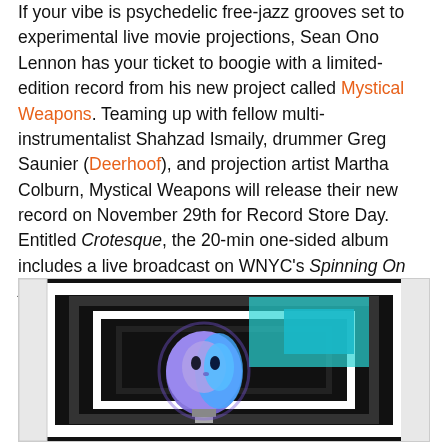If your vibe is psychedelic free-jazz grooves set to experimental live movie projections, Sean Ono Lennon has your ticket to boogie with a limited-edition record from his new project called Mystical Weapons. Teaming up with fellow multi-instrumentalist Shahzad Ismaily, drummer Greg Saunier (Deerhoof), and projection artist Martha Colburn, Mystical Weapons will release their new record on November 29th for Record Store Day. Entitled Crotesque, the 20-min one-sided album includes a live broadcast on WNYC's Spinning On Air from last January, with Side Two sporting an original screen-printed illustration by Sean Lennon. The record is a one-time pressing by Northern Spy Records and is limited to 1,500 units. Spy Music Festival here.
[Figure (photo): Dark image showing a surreal illustration of a light bulb with a face/mask on it, glowing blue and purple, against a black and white geometric background with rectangular frames.]